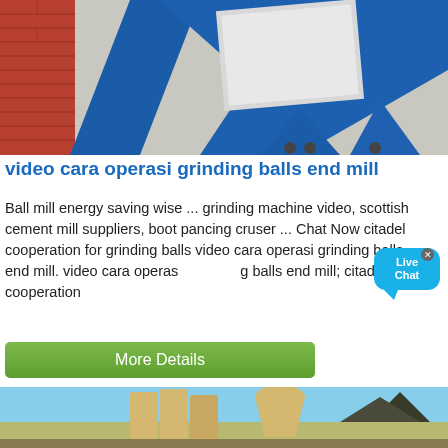[Figure (photo): Photo of industrial blue metal grinding/milling equipment structure outdoors]
video cara operasi grinding balls end mill
Ball mill energy saving wise ... grinding machine video, scottish cement mill suppliers, boot pancing cruser ... Chat Now citadel cooperation for grinding balls video cara operasi grinding balls end mill. video cara operasi grinding balls end mill; citadel cooperation
[Figure (other): Live Chat bubble overlay widget with X close button]
More Details
[Figure (photo): Photo of large industrial yellow/beige grinding mill equipment with cyclone collectors and silos against a blue sky with mountains]